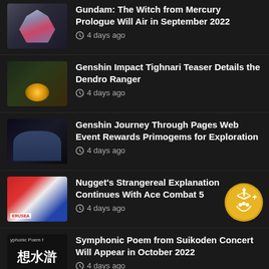Gundam: The Witch from Mercury Prologue Will Air in September 2022 — 4 days ago
Genshin Impact Tighnari Teaser Details the Dendro Ranger — 4 days ago
Genshin Journey Through Pages Web Event Rewards Primogems for Exploration — 4 days ago
Nugget's Strangereal Explanation Continues With Ace Combat 5 — 4 days ago
Symphonic Poem from Suikoden Concert Will Appear in October 2022 — 4 days ago